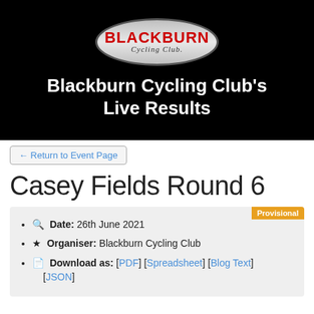[Figure (logo): Blackburn Cycling Club logo: black oval background with silver oval containing red BLACKBURN text and italic 'Cycling Club' text]
Blackburn Cycling Club's Live Results
← Return to Event Page
Casey Fields Round 6
Date: 26th June 2021
Organiser: Blackburn Cycling Club
Download as: [PDF] [Spreadsheet] [Blog Text] [JSON]